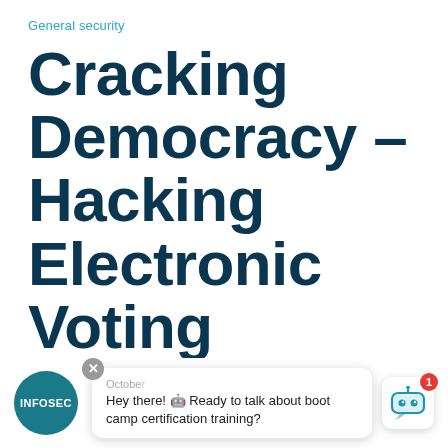General security
Cracking Democracy – Hacking Electronic Voting Machines
[Figure (logo): INFOSEC circular logo in teal, with white text INFOSEC]
Hey there! 🤖 Ready to talk about boot camp certification training?